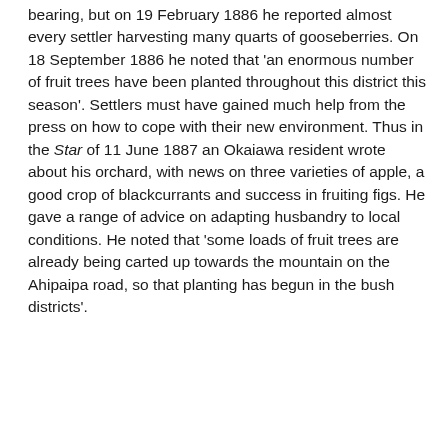bearing, but on 19 February 1886 he reported almost every settler harvesting many quarts of gooseberries. On 18 September 1886 he noted that 'an enormous number of fruit trees have been planted throughout this district this season'. Settlers must have gained much help from the press on how to cope with their new environment. Thus in the Star of 11 June 1887 an Okaiawa resident wrote about his orchard, with news on three varieties of apple, a good crop of blackcurrants and success in fruiting figs. He gave a range of advice on adapting husbandry to local conditions. He noted that 'some loads of fruit trees are already being carted up towards the mountain on the Ahipaipa road, so that planting has begun in the bush districts'.